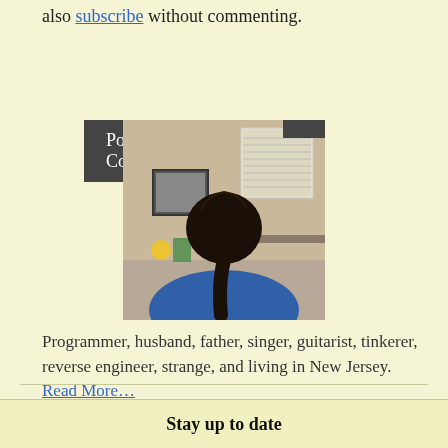also subscribe without commenting.
Post Comment
[Figure (photo): Back view of a person with long dark hair in a ponytail, wearing a blue shirt, sitting in a room with a window with blinds and children's artwork on the wall.]
Programmer, husband, father, singer, guitarist, tinkerer, reverse engineer, strange, and living in New Jersey. Read More…
Stay up to date